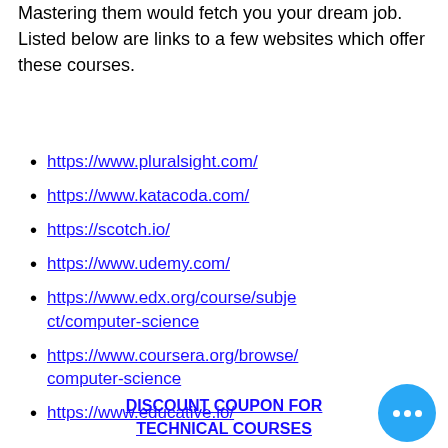Mastering them would fetch you your dream job. Listed below are links to a few websites which offer these courses.
https://www.pluralsight.com/
https://www.katacoda.com/
https://scotch.io/
https://www.udemy.com/
https://www.edx.org/course/subject/computer-science
https://www.coursera.org/browse/computer-science
https://www.educative.io/
DISCOUNT COUPON FOR TECHNICAL COURSES